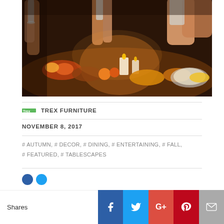[Figure (photo): People clinking wine glasses over a festive dining table filled with food, candles, bread, and autumn decorations]
TREX FURNITURE
NOVEMBER 8, 2017
# AUTUMN, # DECOR, # DINING, # ENTERTAINING, # FALL, # FEATURED, # TABLESCAPES
Shares